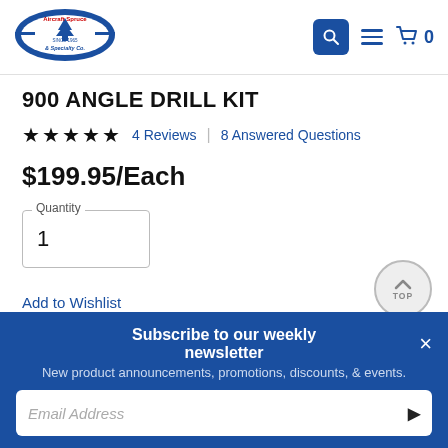[Figure (logo): Aircraft Spruce & Specialty Co. logo — oval blue emblem with tree and text 'SINCE 1965']
900 ANGLE DRILL KIT
★★★★★  4 Reviews  |  8 Answered Questions
$199.95/Each
Quantity
1
Add to Wishlist
Subscribe to our weekly newsletter
New product announcements, promotions, discounts, & events.
Email Address